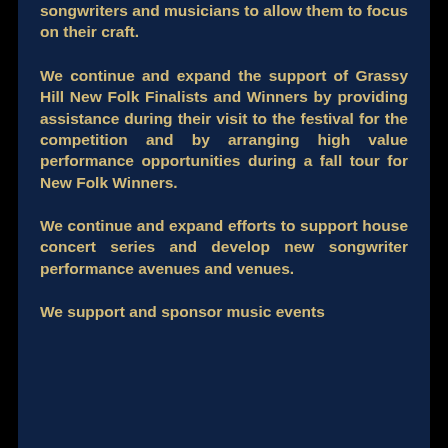songwriters and musicians to allow them to focus on their craft.
We continue and expand the support of Grassy Hill New Folk Finalists and Winners by providing assistance during their visit to the festival for the competition and by arranging high value performance opportunities during a fall tour for New Folk Winners.
We continue and expand efforts to support house concert series and develop new songwriter performance avenues and venues.
We support and sponsor music events